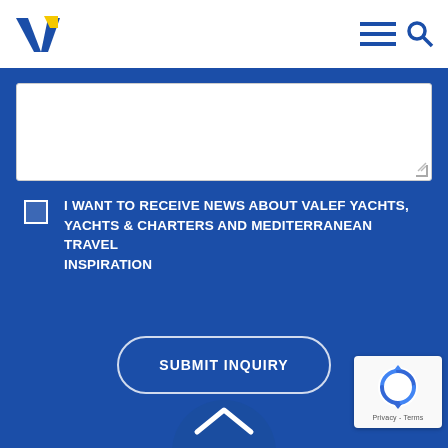Valef Yachts logo and navigation
I WANT TO RECEIVE NEWS ABOUT VALEF YACHTS, YACHTS & CHARTERS AND MEDITERRANEAN TRAVEL INSPIRATION
SUBMIT INQUIRY
[Figure (logo): reCAPTCHA badge with Privacy - Terms text]